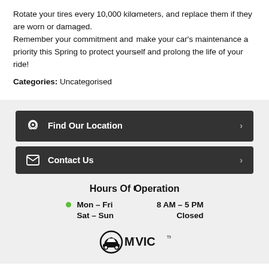Rotate your tires every 10,000 kilometers, and replace them if they are worn or damaged.
Remember your commitment and make your car's maintenance a priority this Spring to protect yourself and prolong the life of your ride!
Categories: Uncategorised
Find Our Location
Contact Us
Hours Of Operation
| Day | Hours |
| --- | --- |
| Mon – Fri | 8 AM – 5 PM |
| Sat – Sun | Closed |
[Figure (logo): OMVIC logo]